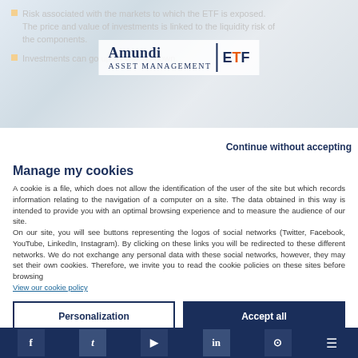[Figure (screenshot): Amundi ETF Asset Management logo overlaid on hero image with building/architecture background]
Risk associated with the markets to which the ETF is exposed. The price and value of investments is linked to the liquidity risk of the components.
Investments can go up as well as down.
Continue without accepting
Manage my cookies
A cookie is a file, which does not allow the identification of the user of the site but which records information relating to the navigation of a computer on a site. The data obtained in this way is intended to provide you with an optimal browsing experience and to measure the audience of our site.
On our site, you will see buttons representing the logos of social networks (Twitter, Facebook, YouTube, LinkedIn, Instagram). By clicking on these links you will be redirected to these different networks. We do not exchange any personal data with these social networks, however, they may set their own cookies. Therefore, we invite you to read the cookie policies on these sites before browsing
View our cookie policy
Personalization
Accept all
f | twitter | youtube | linkedin | instagram | menu